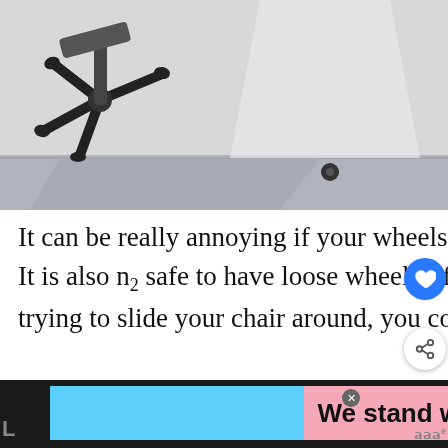[Figure (photo): Black and white photo of an overturned office chair base with casters, lying on a gray carpet near a white wall. A single wheel/caster is separated on the floor to the right.]
It can be really annoying if your wheels fall off every time you lift your chair. It is also not safe to have loose wheels. If your wheels come off while you're trying to slide your chair around, you could fall and hur...
[Figure (infographic): WHAT'S NEXT arrow label with thumbnail of a chair and text: How to Wash IKEA Poang...]
[Figure (infographic): Advertisement banner: We stand with you. With trans pride flag colors (blue, pink, white). An X close button and partial text visible on sides.]